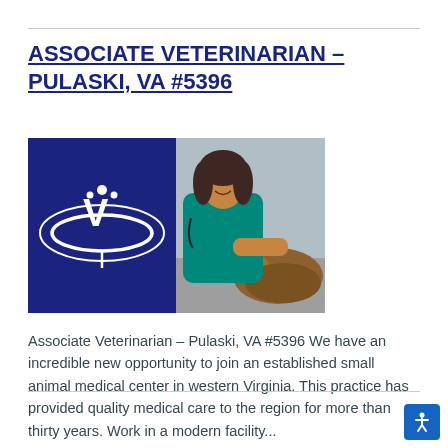ASSOCIATE VETERINARIAN – PULASKI, VA #5396
[Figure (photo): Composite image: left half shows a dark navy/purple background with a white veterinary logo (stylized V with paw print and swoosh lines); right half shows a female veterinarian in teal scrubs smiling while examining a fluffy brown cat on an exam table.]
Associate Veterinarian – Pulaski, VA #5396 We have an incredible new opportunity to join an established small animal medical center in western Virginia. This practice has provided quality medical care to the region for more than thirty years. Work in a modern facility...